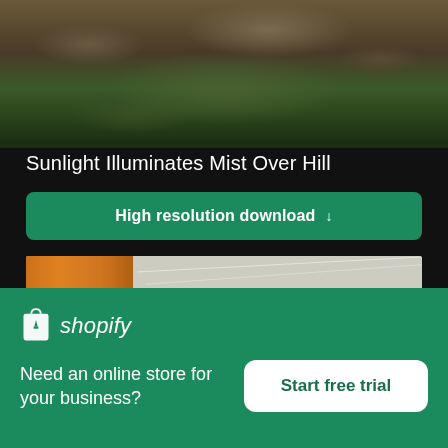[Figure (photo): Dark rocky hillside with moss and vegetation, muted earth tones]
Sunlight Illuminates Mist Over Hill
High resolution download ↓
[Figure (photo): Orange/amber building wall on left side against a pale grey sky with faint diagonal contrails]
×
[Figure (logo): Shopify logo — shopping bag icon with 'shopify' wordmark in italic white text]
Need an online store for your business?
Start free trial